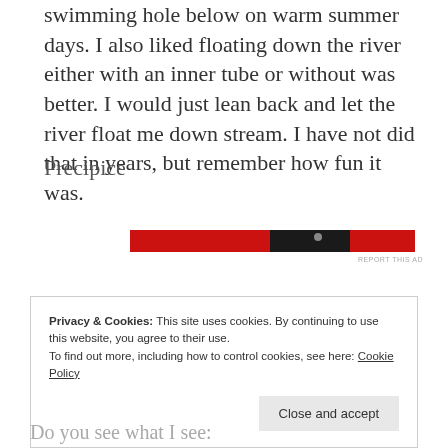swimming hole below on warm summer days. I also liked floating down the river either with an inner tube or without was better. I would just lean back and let the river float me down stream. I have not did that in years, but remember how fun it was.
Precipice
[Figure (other): Red advertisement banner with dark section containing small imagery]
REPORT THIS AD
Privacy & Cookies: This site uses cookies. By continuing to use this website, you agree to their use.
To find out more, including how to control cookies, see here: Cookie Policy
Close and accept
Do you see what I see: